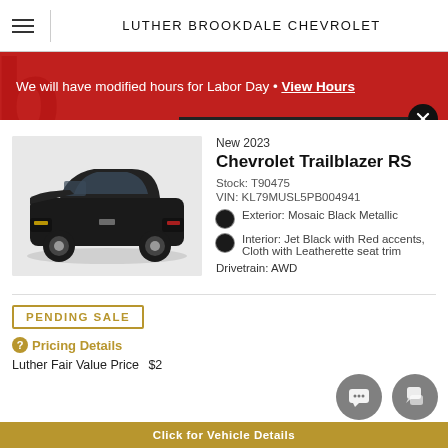LUTHER BROOKDALE CHEVROLET
We will have modified hours for Labor Day • View Hours
[Figure (photo): Black 2023 Chevrolet Trailblazer RS SUV on grey background]
New 2023
Chevrolet Trailblazer RS
Stock: T90475
VIN: KL79MUSL5PB004941
Exterior: Mosaic Black Metallic
Interior: Jet Black with Red accents, Cloth with Leatherette seat trim
Drivetrain: AWD
PENDING SALE
Pricing Details
Luther Fair Value Price $2...
Click for Vehicle Details